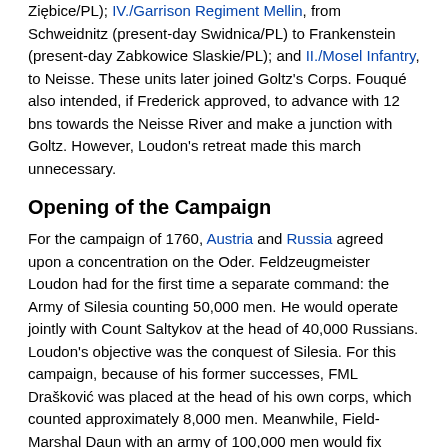Ziębice/PL); IV./Garrison Regiment Mellin, from Schweidnitz (present-day Swidnica/PL) to Frankenstein (present-day Zabkowice Slaskie/PL); and II./Mosel Infantry, to Neisse. These units later joined Goltz's Corps. Fouqué also intended, if Frederick approved, to advance with 12 bns towards the Neisse River and make a junction with Goltz. However, Loudon's retreat made this march unnecessary.
Opening of the Campaign
For the campaign of 1760, Austria and Russia agreed upon a concentration on the Oder. Feldzeugmeister Loudon had for the first time a separate command: the Army of Silesia counting 50,000 men. He would operate jointly with Count Saltykov at the head of 40,000 Russians. Loudon's objective was the conquest of Silesia. For this campaign, because of his former successes, FML Drašković was placed at the head of his own corps, which counted approximately 8,000 men. Meanwhile, Field-Marshal Daun with an army of 100,000 men would fix Frederick II in Saxony and would follow him if ever he marched to the rescue of Silesia.
During this time, Fouqué in his headquarters at Landeshut, was the Prussian general in charge of the Silesian frontier. He commanded some 13,000 men. Fouqué occupied a ring of fortified hills around Landeshut, with lot of well positioned batteries. Furthermore, the Prussians had some 4 or 6,000 men, under Lieutenant-General von der Goltz, guarding the Jagerndorf-Troppau border. Goltz's positions stretched by Neisse far